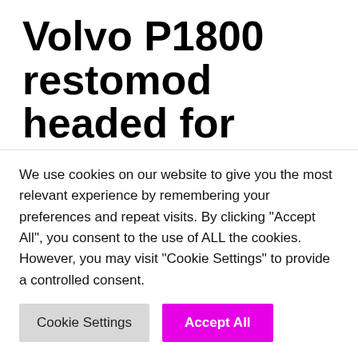Volvo P1800 restomod headed for production
By
MAY 27, 2022  04 Sienna, 05 Sienna, 06 Sienna, 07 Sienna, 1998 Sienna, 2001 Sienna, 2013 Sienna, 2014 Sienna, 2015 Sienna, 2016
We use cookies on our website to give you the most relevant experience by remembering your preferences and repeat visits. By clicking "Accept All", you consent to the use of ALL the cookies. However, you may visit "Cookie Settings" to provide a controlled consent.